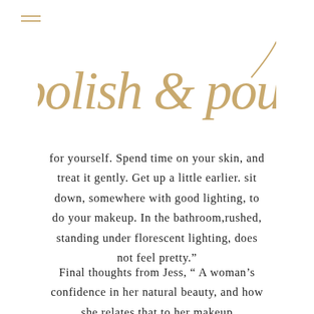[Figure (logo): Polish & Pout script logo in gold/tan cursive lettering]
for yourself. Spend time on your skin, and treat it gently. Get up a little earlier. sit down, somewhere with good lighting, to do your makeup. In the bathroom,rushed, standing under florescent lighting, does not feel pretty.”
Final thoughts from Jess, “ A woman’s confidence in her natural beauty, and how she relates that to her makeup